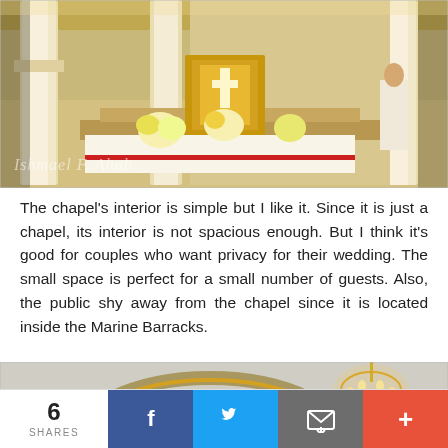[Figure (photo): Interior of a Catholic chapel showing the altar area with marble columns, golden tabernacle, floral arrangements, and people in the background. Watermark reads 'Ishmael F. Ahab']
The chapel's interior is simple but I like it. Since it is just a chapel, its interior is not spacious enough. But I think it's good for couples who want privacy for their wedding. The small space is perfect for a small number of guests. Also, the public shy away from the chapel since it is located inside the Marine Barracks.
[Figure (photo): Interior view of the chapel showing an arched architectural detail and a chandelier on the right side. Watermark reads 'Ishmael F. Ahab']
6 SHARES | Facebook | Twitter | Email | More